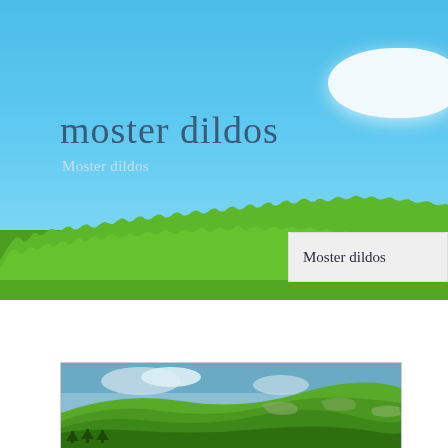[Figure (illustration): Website screenshot showing a nature-themed header with blue sky background, green grass strip, white cloud in top-right corner, a large title 'moster dildos' and subtitle 'Moster dildos' overlaid on the sky, a floating grey box with 'Moster dildos' text at right, and a bottom framed landscape photo of green rolling hills.]
moster dildos
Moster dildos
Moster dildos